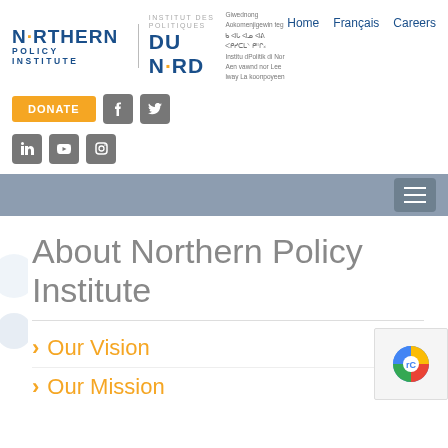[Figure (logo): Northern Policy Institute / Institut des Politiques du Nord logo with indigenous language text]
Home  Français  Careers
[Figure (infographic): Social media buttons: DONATE, Facebook, Twitter, LinkedIn, YouTube, Instagram]
[Figure (infographic): Navigation bar with hamburger menu button]
About Northern Policy Institute
Our Vision
Our Mission